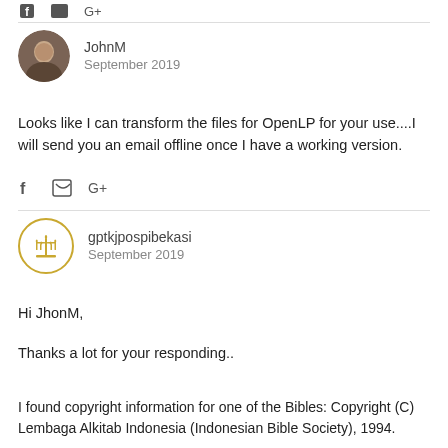[Figure (other): Social share icons (Facebook, Twitter, Google+) at top of page]
JohnM
September 2019
Looks like I can transform the files for OpenLP for your use....I will send you an email offline once I have a working version.
[Figure (other): Social share icons: Facebook, Twitter, Google+]
gptkjpospibekasi
September 2019
Hi JhonM,
Thanks a lot for your responding..
I found copyright information for one of the Bibles: Copyright (C) Lembaga Alkitab Indonesia (Indonesian Bible Society), 1994.